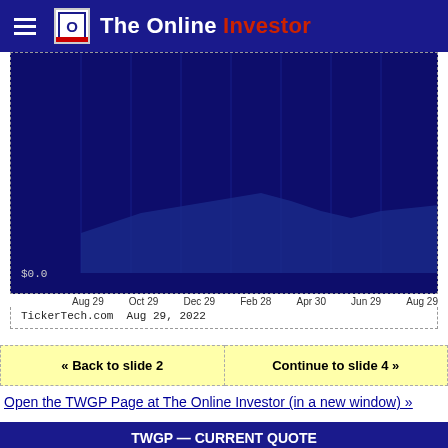The Online Investor
[Figure (continuous-plot): Stock price chart for TWGP showing price history from Aug 29 to Aug 29, with $0.0 label on y-axis. Dark blue area chart on navy background.]
TickerTech.com  Aug 29, 2022
« Back to slide 2
Continue to slide 4 »
Open the TWGP Page at The Online Investor (in a new window) »
TWGP — CURRENT QUOTE
| Field | Value |
| --- | --- |
| Symbol | TWGP |
| Exchange | NASD |
| Price | 2.23 |
| Change | UNCH (0.0%) |
| Volume | 1.31M |